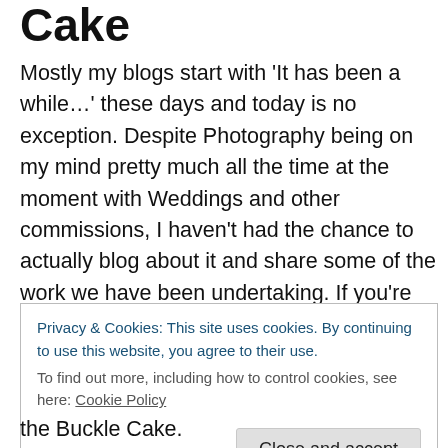Cake
Mostly my blogs start with ‘It has been a while…’ these days and today is no exception. Despite Photography being on my mind pretty much all the time at the moment with Weddings and other commissions, I haven’t had the chance to actually blog about it and share some of the work we have been undertaking. If you’re following my Facebook Page – Kathryn Dawson Photography – you’ll see a lot of updates there. In the meantime there will be blogs – when possible! So today was one of those
Privacy & Cookies: This site uses cookies. By continuing to use this website, you agree to their use.
To find out more, including how to control cookies, see here: Cookie Policy
Close and accept
the Buckle Cake.